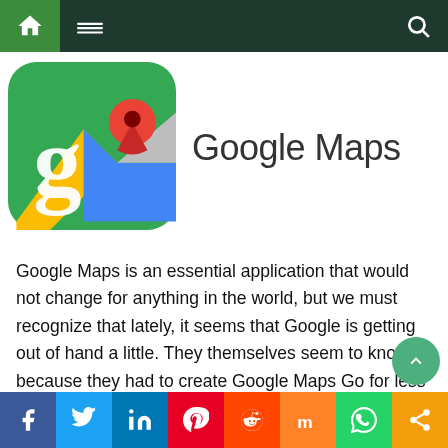Navigation bar with home, menu, and search icons
[Figure (logo): Google Maps app icon with green background, yellow road diagonal, blue triangle, red location pin, and white Google 'g' logo]
Google Maps
Google Maps is an essential application that would not change for anything in the world, but we must recognize that lately, it seems that Google is getting out of hand a little. They themselves seem to know because they had to create Google Maps Go for less powerful devices.
It is foreseeable that an application that reaches constant...
Social share bar: Facebook, Twitter, LinkedIn, Pinterest, Reddit, Mix, WhatsApp, Share